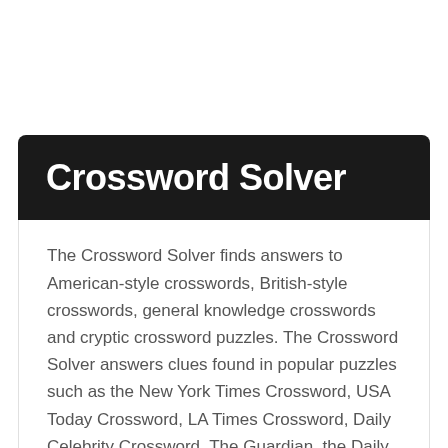Crossword Solver
The Crossword Solver finds answers to American-style crosswords, British-style crosswords, general knowledge crosswords and cryptic crossword puzzles. The Crossword Solver answers clues found in popular puzzles such as the New York Times Crossword, USA Today Crossword, LA Times Crossword, Daily Celebrity Crossword, The Guardian, the Daily Mirror, Coffee Break puzzles, Telegraph crosswords and many other popular crossword puzzles.